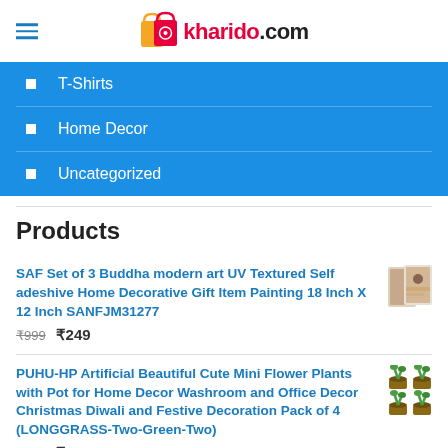kharido.com
T-Shirts
Home Decor
Uncategorized
Products
SAF Set of 3 Buddha modern art UV Textured Self adeshive Home Decorative Gift Item Painting 18 Inch X 12 Inch SANFJM31277 ₹999 ₹249
PUHU-HP Artificial Beautiful Cute Mini Flower Plants with Pot for Home Decor Washroom and Office Decor Christmas Diwali and Festive Decoration Pack of 4 (LONGGRASS-Two-Green-Two) ₹999 ₹498